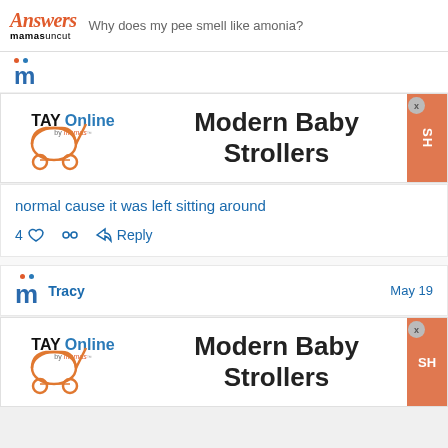Answers mamasuncut — Why does my pee smell like amonia?
[Figure (screenshot): TAY Online by mamas advertisement banner for Modern Baby Strollers with orange shop button]
normal cause it was left sitting around
4 ♡  Reply
Tracy  May 19
[Figure (screenshot): Second TAY Online by mamas advertisement banner for Modern Baby Strollers with orange shop button]